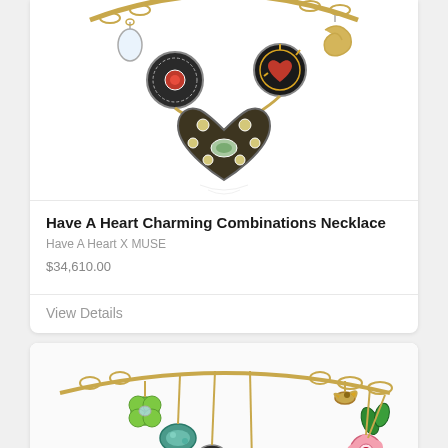[Figure (photo): Charm necklace with heart pendant, decorative circular charms with gemstones, and dangling ornaments on a gold chain, displayed on white background]
Have A Heart Charming Combinations Necklace
Have A Heart X MUSE
$34,610.00
View Details
[Figure (photo): Colorful charm necklace with floral charms including green four-leaf clover, flowers, butterfly, and various gemstone charms on a gold chain]